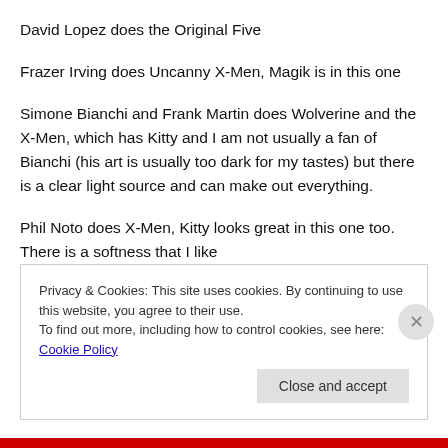David Lopez does the Original Five
Frazer Irving does Uncanny X-Men, Magik is in this one
Simone Bianchi and Frank Martin does Wolverine and the X-Men, which has Kitty and I am not usually a fan of Bianchi (his art is usually too dark for my tastes) but there is a clear light source and can make out everything.
Phil Noto does X-Men, Kitty looks great in this one too. There is a softness that I like
Privacy & Cookies: This site uses cookies. By continuing to use this website, you agree to their use.
To find out more, including how to control cookies, see here: Cookie Policy
Close and accept